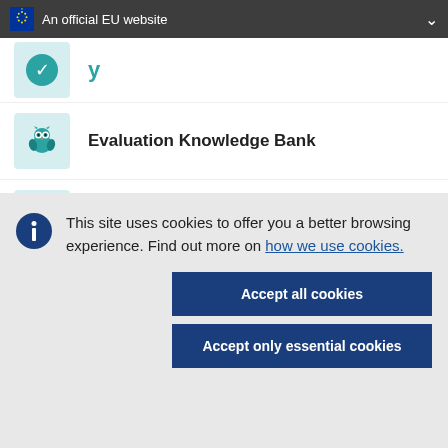An official EU website
Evaluation Knowledge Bank
Share your Rural Story
LAG Database
This site uses cookies to offer you a better browsing experience. Find out more on how we use cookies.
Accept all cookies
Accept only essential cookies